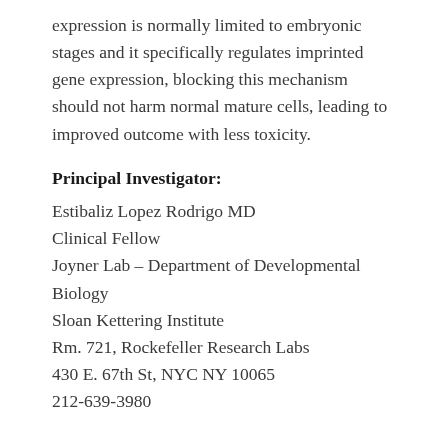expression is normally limited to embryonic stages and it specifically regulates imprinted gene expression, blocking this mechanism should not harm normal mature cells, leading to improved outcome with less toxicity.
Principal Investigator:
Estibaliz Lopez Rodrigo MD
Clinical Fellow
Joyner Lab – Department of Developmental Biology
Sloan Kettering Institute
Rm. 721, Rockefeller Research Labs
430 E. 67th St, NYC NY 10065
212-639-3980